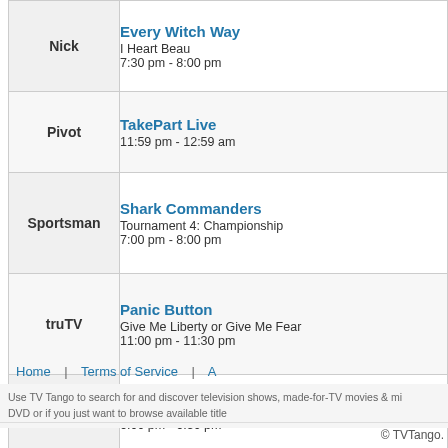| Channel | Show |
| --- | --- |
| Nick | Every Witch Way
I Heart Beau
7:30 pm - 8:00 pm |
| Pivot | TakePart Live
11:59 pm - 12:59 am |
| Sportsman | Shark Commanders
Tournament 4: Championship
7:00 pm - 8:00 pm |
| truTV | Panic Button
Give Me Liberty or Give Me Fear
11:00 pm - 11:30 pm |
| TVGN | PopSugar Now
6:00 pm - 6:30 pm |
Home | Terms of Service | A
Use TV Tango to search for and discover television shows, made-for-TV movies & mi... DVD or if you just want to browse available title...
© TVTango.